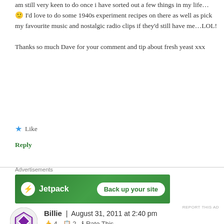am still very keen to do once i have sorted out a few things in my life… 🙂 I'd love to do some 1940s experiment recipes on there as well as pick my favourite music and nostalgic radio clips if they'd still have me…LOL!

Thanks so much Dave for your comment and tip about fresh yeast xxx
★ Like
Reply
Advertisements
[Figure (screenshot): Jetpack advertisement banner with green background, logo and 'Back up your site' button]
REPORT THIS AD
Billie | August 31, 2011 at 2:40 pm
👍 4 📋 2 ℹ Rate This